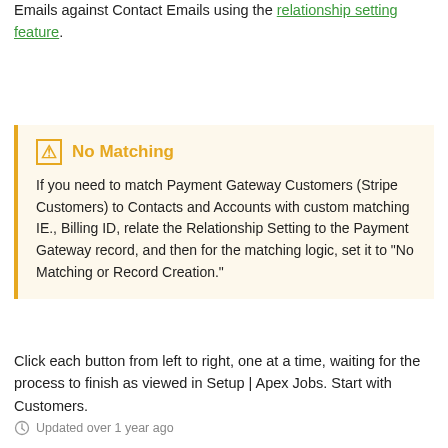Emails against Contact Emails using the relationship setting feature.
No Matching
If you need to match Payment Gateway Customers (Stripe Customers) to Contacts and Accounts with custom matching IE., Billing ID, relate the Relationship Setting to the Payment Gateway record, and then for the matching logic, set it to "No Matching or Record Creation."
Click each button from left to right, one at a time, waiting for the process to finish as viewed in Setup | Apex Jobs. Start with Customers.
Updated over 1 year ago